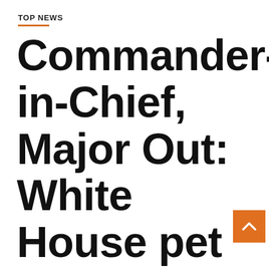TOP NEWS
Commander-in-Chief, Major Out: White House pet shake-up after bite incidents |